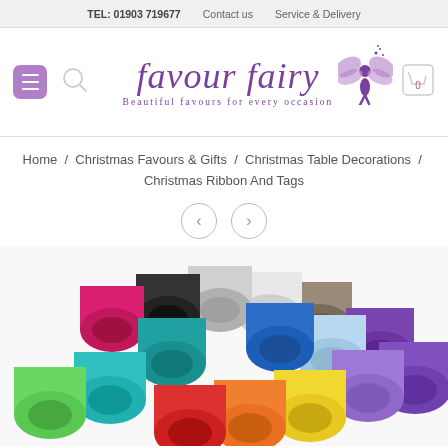TEL: 01903 719677   Contact us   Service & Delivery
[Figure (logo): Favour Fairy logo with fairy illustration and tagline 'Beautiful favours for every occasion']
Home / Christmas Favours & Gifts / Christmas Table Decorations / Christmas Ribbon And Tags
[Figure (photo): Multiple colourful ribbon spools arranged in rows at an angle, showing various colours including pink, black, silver, white, grey, teal, blue, purple, green, orange, yellow]